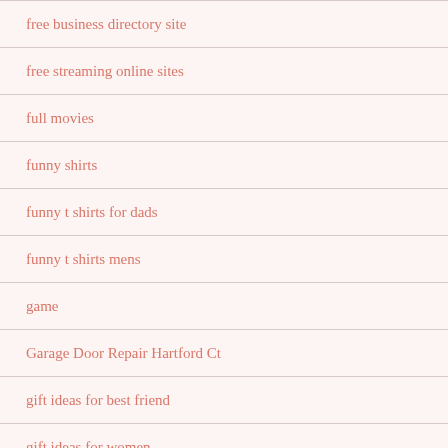free business directory site
free streaming online sites
full movies
funny shirts
funny t shirts for dads
funny t shirts mens
game
Garage Door Repair Hartford Ct
gift ideas for best friend
gift ideas for women
gili air escape